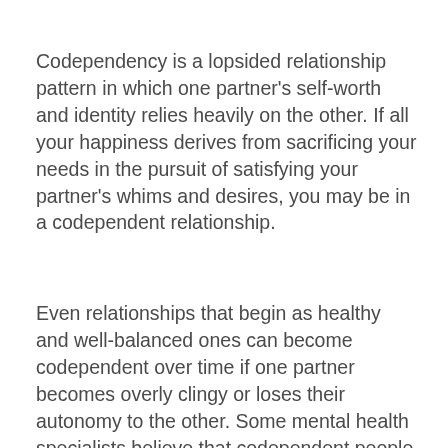Codependency is a lopsided relationship pattern in which one partner's self-worth and identity relies heavily on the other. If all your happiness derives from sacrificing your needs in the pursuit of satisfying your partner's whims and desires, you may be in a codependent relationship.
Even relationships that begin as healthy and well-balanced ones can become codependent over time if one partner becomes overly clingy or loses their autonomy to the other. Some mental health specialists believe that codependent people with abusive